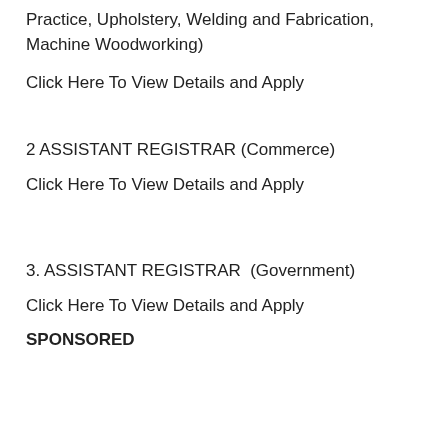Practice, Upholstery, Welding and Fabrication, Machine Woodworking)
Click Here To View Details and Apply
2 ASSISTANT REGISTRAR (Commerce)
Click Here To View Details and Apply
3. ASSISTANT REGISTRAR  (Government)
Click Here To View Details and Apply
SPONSORED